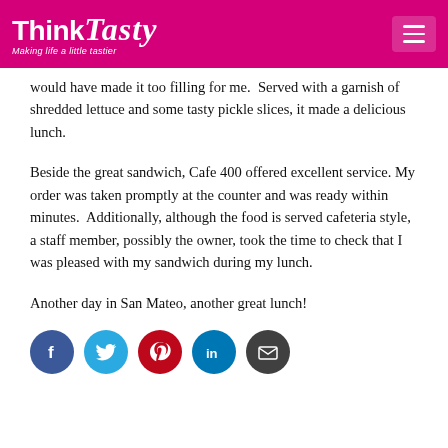Think Tasty — Making life a little tastier
would have made it too filling for me.  Served with a garnish of shredded lettuce and some tasty pickle slices, it made a delicious lunch.
Beside the great sandwich, Cafe 400 offered excellent service. My order was taken promptly at the counter and was ready within minutes.  Additionally, although the food is served cafeteria style, a staff member, possibly the owner, took the time to check that I was pleased with my sandwich during my lunch.
Another day in San Mateo, another great lunch!
[Figure (infographic): Row of five social media sharing icons: Facebook (blue circle with f), Twitter (light blue circle with bird), Pinterest (red circle with P), LinkedIn (teal circle with in), Email (dark gray circle with envelope)]